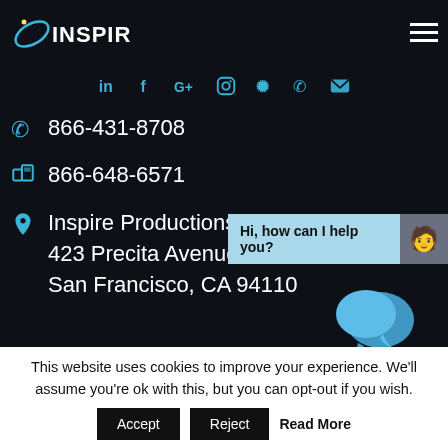INSPIRE
[Figure (other): Social media icons row: LinkedIn, Facebook, Google+, Instagram, Yelp, Phone, Email]
866-431-8708
866-648-6571
Inspire Productions
423 Precita Avenue
San Francisco, CA 94110
[Figure (other): Chat popup with text 'Hi, how can I help you?' and avatar, plus speech bubble icons]
Connect
[Figure (other): Social media icon boxes: LinkedIn, Facebook, Google+, Instagram, Yelp]
This website uses cookies to improve your experience. We'll assume you're ok with this, but you can opt-out if you wish.
Accept  Reject  Read More